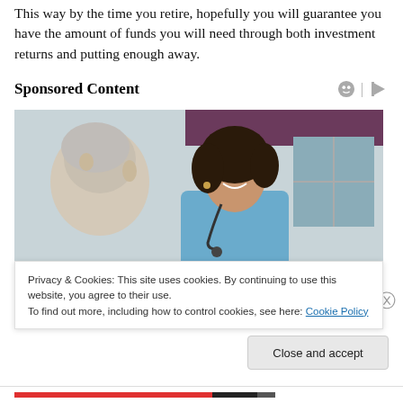This way by the time you retire, hopefully you will guarantee you have the amount of funds you will need through both investment returns and putting enough away.
Sponsored Content
[Figure (photo): A smiling female healthcare worker or nurse in blue scrubs with a stethoscope, sitting beside and talking with an elderly man with white/gray hair, background shows a window with purple/maroon curtains.]
Privacy & Cookies: This site uses cookies. By continuing to use this website, you agree to their use.
To find out more, including how to control cookies, see here: Cookie Policy
Close and accept